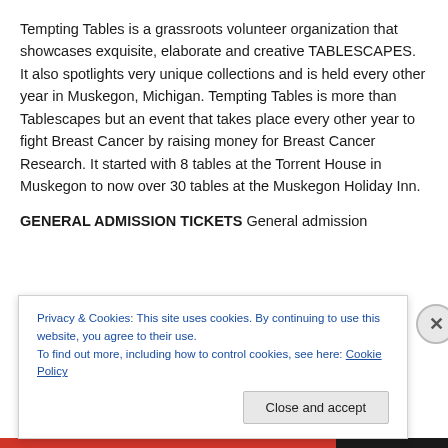Tempting Tables is a grassroots volunteer organization that showcases exquisite, elaborate and creative TABLESCAPES. It also spotlights very unique collections and is held every other year in Muskegon, Michigan. Tempting Tables is more than Tablescapes but an event that takes place every other year to fight Breast Cancer by raising money for Breast Cancer Research. It started with 8 tables at the Torrent House in Muskegon to now over 30 tables at the Muskegon Holiday Inn.
GENERAL ADMISSION TICKETS General admission
Privacy & Cookies: This site uses cookies. By continuing to use this website, you agree to their use. To find out more, including how to control cookies, see here: Cookie Policy